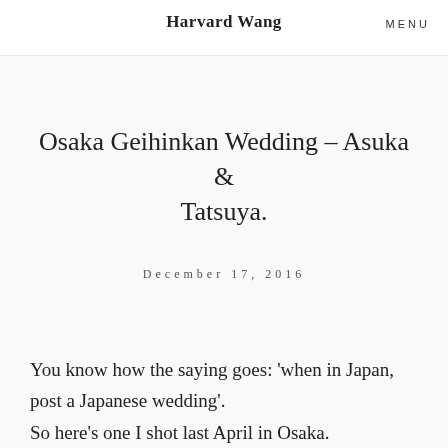Harvard Wang   MENU
Osaka Geihinkan Wedding – Asuka & Tatsuya.
December 17, 2016
You know how the saying goes: 'when in Japan, post a Japanese wedding'. So here's one I shot last April in Osaka.